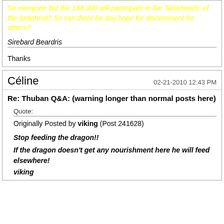So everyone but the 144,000 will participate in the 'falsehoods' of the Antichrist? So can there be any hope for discernment for others?
Sirebard Beardris
Thanks
Céline
02-21-2010 12:43 PM
Re: Thuban Q&A: (warning longer than normal posts here)
Quote:
Originally Posted by viking (Post 241628)
Stop feeding the dragon!!
If the dragon doesn't get any nourishment here he will feed elsewhere!
viking